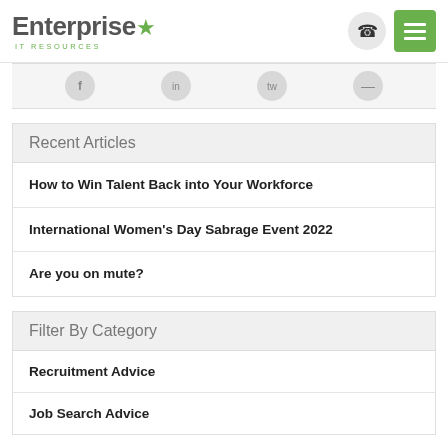Enterprise IT RESOURCES
Recent Articles
How to Win Talent Back into Your Workforce
International Women's Day Sabrage Event 2022
Are you on mute?
Filter By Category
Recruitment Advice
Job Search Advice